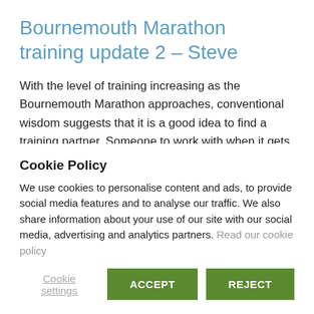Bournemouth Marathon training update 2 – Steve
With the level of training increasing as the Bournemouth Marathon approaches, conventional wisdom suggests that it is a good idea to find a training partner. Someone to work with when it gets tough and motivation starts to be questioned. Part of the idea is that you help each other when… Read More
Cookie Policy
We use cookies to personalise content and ads, to provide social media features and to analyse our traffic. We also share information about your use of our site with our social media, advertising and analytics partners. Read our cookie policy
Cookie settings   ACCEPT   REJECT